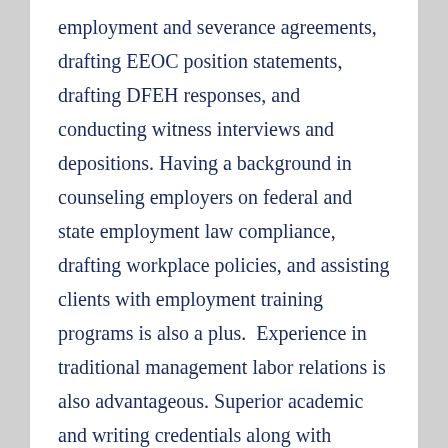employment and severance agreements, drafting EEOC position statements, drafting DFEH responses, and conducting witness interviews and depositions. Having a background in counseling employers on federal and state employment law compliance, drafting workplace policies, and assisting clients with employment training programs is also a plus.  Experience in traditional management labor relations is also advantageous. Superior academic and writing credentials along with California bar admission required.  If you want to join a collegial team of excellent employment law professionals who enjoy their work and take pride in their work product, we would be the ideal firm for you.  Pursuant to